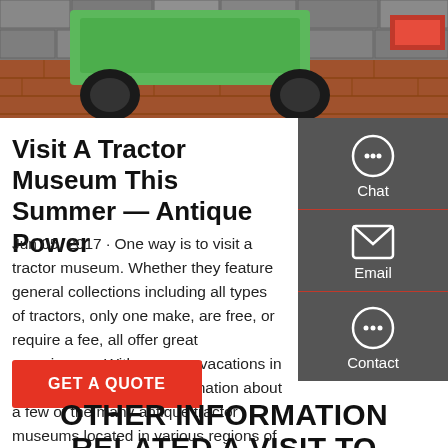[Figure (photo): Photo of a green tractor/vehicle front end, partially visible, against a stone wall background with brick flooring]
Visit A Tractor Museum This Summer — Antique Power
Jun 05, 2017 · One way is to visit a tractor museum. Whether they feature general collections including all types of tractors, only one make, are free, or require a fee, all offer great experiences. With summer vacations in mind, I'd like to share information about a few of the many antique tractor museums located in various regions of North America, in the
GET A QUOTE
OTHER INFORMATION RELATED A VISIT TO